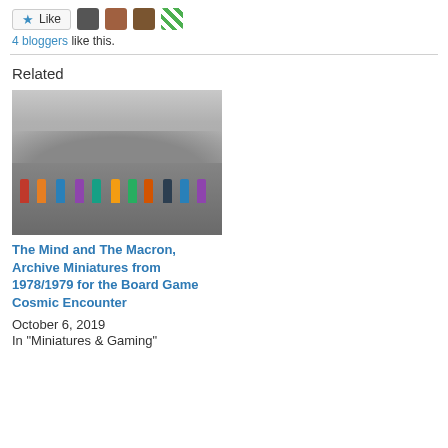[Figure (other): Like button with star icon and four blogger avatar thumbnails]
4 bloggers like this.
[Figure (photo): Photo of painted miniature figures (Archive Miniatures from 1978/1979 for Cosmic Encounter board game) posed in front of a lunar landscape backdrop. Figures wear colorful suits in red, orange, blue, purple, teal, yellow.]
The Mind and The Macron, Archive Miniatures from 1978/1979 for the Board Game Cosmic Encounter
October 6, 2019
In "Miniatures & Gaming"